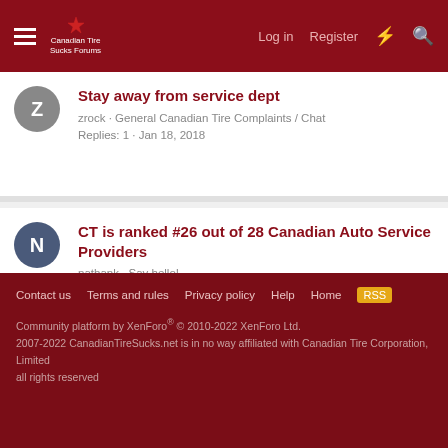Canadian Tire Sucks Forum — Log in · Register
Stay away from service dept
zrock · General Canadian Tire Complaints / Chat
Replies: 1 · Jan 18, 2018
CT is ranked #26 out of 28 Canadian Auto Service Providers
nathank · Say hello!
Replies: 0 · Mar 30, 2018
Share:
‹ Personal Stories
Contact us · Terms and rules · Privacy policy · Help · Home
Community platform by XenForo® © 2010-2022 XenForo Ltd.
2007-2022 CanadianTireSucks.net is in no way affiliated with Canadian Tire Corporation, Limited
all rights reserved